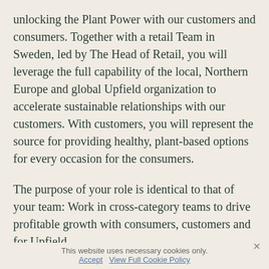unlocking the Plant Power with our customers and consumers. Together with a retail Team in Sweden, led by The Head of Retail, you will leverage the full capability of the local, Northern Europe and global Upfield organization to accelerate sustainable relationships with our customers. With customers, you will represent the source for providing healthy, plant-based options for every occasion for the consumers.
The purpose of your role is identical to that of your team: Work in cross-category teams to drive profitable growth with consumers, customers and for Upfield.
You will be supporting the Retail business over all aspects from Sales, Category Management, & trade marketing. You will be focusing on a wide range of core business mechanics: S&OP input, Promo Analysis, Obsoletes
This website uses necessary cookies only. Accept  View Full Cookie Policy